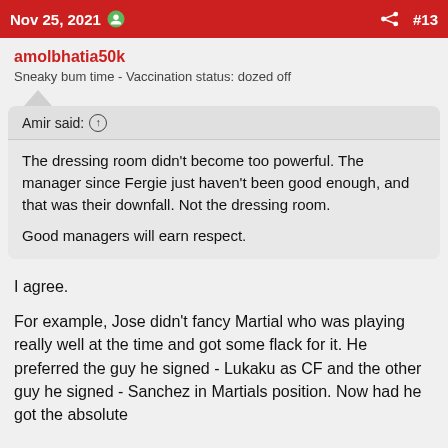Nov 25, 2021  #13
amolbhatia50k
Sneaky bum time - Vaccination status: dozed off
Amir said: ↑
The dressing room didn't become too powerful. The manager since Fergie just haven't been good enough, and that was their downfall. Not the dressing room.

Good managers will earn respect.
I agree.
For example, Jose didn't fancy Martial who was playing really well at the time and got some flack for it. He preferred the guy he signed - Lukaku as CF and the other guy he signed - Sanchez in Martials position. Now had he got the absolute